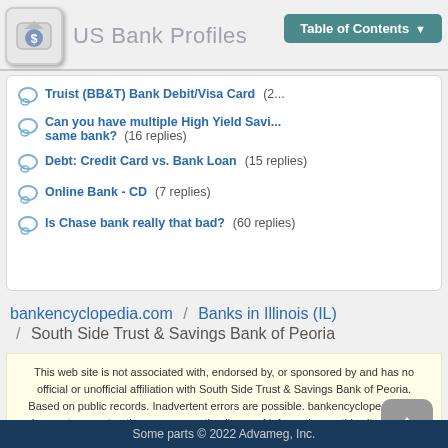US Bank Profiles
Truist (BB&T) Bank Debit/Visa Card (2...)
Can you have multiple High Yield Savings accounts at the same bank? (16 replies)
Debt: Credit Card vs. Bank Loan (15 replies)
Online Bank - CD (7 replies)
Is Chase bank really that bad? (60 replies)
bankencyclopedia.com / Banks in Illinois (IL) / South Side Trust & Savings Bank of Peoria
This web site is not associated with, endorsed by, or sponsored by and has no official or unofficial affiliation with South Side Trust & Savings Bank of Peoria. Based on public records. Inadvertent errors are possible. bankencyclopedia.com does not guarantee the accuracy or timeliness of information on this site. Use at your own risk.
Some parts © 2022 Advameg, Inc.